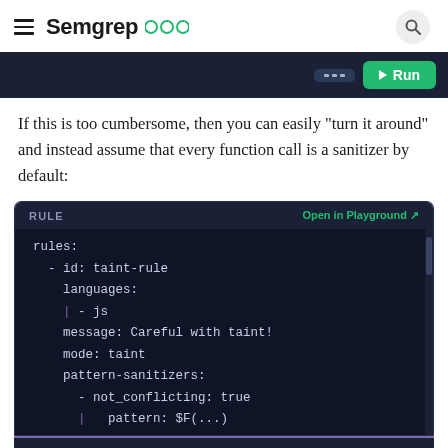Semgrep
[Figure (screenshot): Dark code editor bar with dots button and green Run button]
If this is too cumbersome, then you can easily "turn it around" and instead assume that every function call is a sanitizer by default:
[Figure (screenshot): Code block showing RULE section with Open in Playground link, containing YAML taint rule configuration with rules:, id: taint-rule, languages: - js, message: Careful with taint!, mode: taint, pattern-sanitizers: - not_conflicting: true, pattern: $F(...)]
TEST CODE   JavaScript